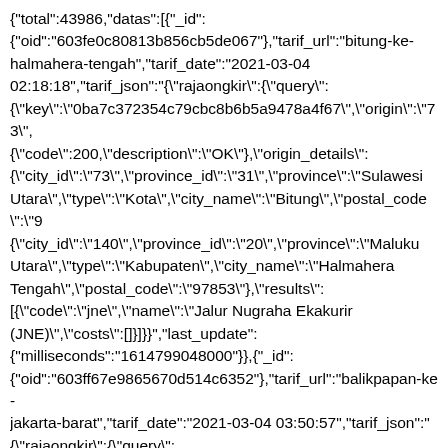{"total":43986,"datas":[{"_id": {"oid":"603fe0c80813b856cb5de067"},"tarif_url":"bitung-ke-halmahera-tengah","tarif_date":"2021-03-04 02:18:18","tarif_json":"{\"rajaongkir\":{\"query\": {\"key\":\"0ba7c372354c79cbc8b6b5a9478a4f67\",\"origin\":\"73\", {\"code\":200,\"description\":\"OK\"},\"origin_details\": {\"city_id\":\"73\",\"province_id\":\"31\",\"province\":\"Sulawesi Utara\",\"type\":\"Kota\",\"city_name\":\"Bitung\",\"postal_code\":\"9 {\"city_id\":\"140\",\"province_id\":\"20\",\"province\":\"Maluku Utara\",\"type\":\"Kabupaten\",\"city_name\":\"Halmahera Tengah\",\"postal_code\":\"97853\"},\"results\": [{\"code\":\"jne\",\"name\":\"Jalur Nugraha Ekakurir (JNE)\",\"costs\":[]}]}}","last_update": {"milliseconds":"1614799048000"}},{"_id": {"oid":"603ff67e9865670d514c6352"},"tarif_url":"balikpapan-ke-jakarta-barat","tarif_date":"2021-03-04 03:50:57","tarif_json":": {\"rajaongkir\":{\"query\": {\"key\":\"0ba7c372354c79cbc8b6b5a9478a4f67\",\"origin\":\"19\", {\"code\":200,\"description\":\"OK\"},\"origin_details\": {\"city_id\":\"19\",\"province_id\":\"15\",\"province\":\"Kalimantan Timur\",\"type\":\"Kota\",\"city_name\":\"Balikpapan\",\"postal_code {\"city_id\":\"151\",\"province_id\":\"6\",\"province\":\"DKI Jakarta\",\"type\":\"Kota\",\"city_name\":\"Jakarta Barat\",\"postal_code\":\"11220\"},\"results\": [{\"code\":\"jne\",\"name\":\"Jalur Nugraha Ekakurir